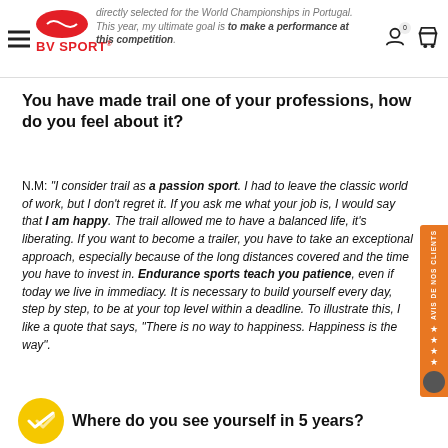directly selected for the World Championships in Portugal. This year, my ultimate goal is to make a performance at this competition.
You have made trail one of your professions, how do you feel about it?
N.M: "I consider trail as a passion sport. I had to leave the classic world of work, but I don't regret it. If you ask me what your job is, I would say that I am happy. The trail allowed me to have a balanced life, it's liberating. If you want to become a trailer, you have to take an exceptional approach, especially because of the long distances covered and the time you have to invest in. Endurance sports teach you patience, even if today we live in immediacy. It is necessary to build yourself every day, step by step, to be at your top level within a deadline. To illustrate this, I like a quote that says, "There is no way to happiness. Happiness is the way".
Where do you see yourself in 5 years?